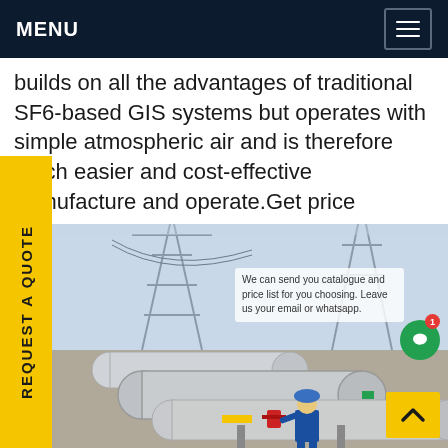MENU
builds on all the advantages of traditional SF6-based GIS systems but operates with simple atmospheric air and is therefore much easier and cost-effective manufacture and operate.Get price
REQUEST A QUOTE
[Figure (photo): Industrial electrical substation with large cylindrical gas-insulated switchgear pipes and a worker in blue coveralls and hard hat inspecting equipment. High-voltage transmission towers visible in background against a hazy sky.]
We can send you catalogue and price list for you choosing. Leave us your email or whatsapp.